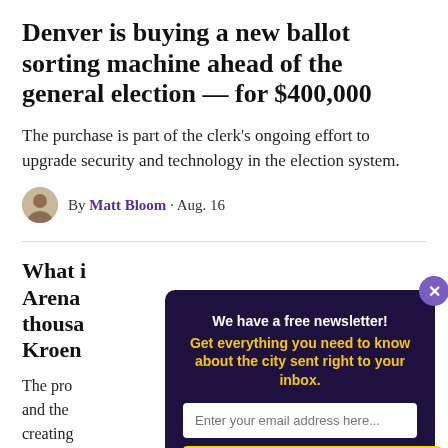Denver is buying a new ballot sorting machine ahead of the general election — for $400,000
The purchase is part of the clerk's ongoing effort to upgrade security and technology in the election system.
By Matt Bloom · Aug. 16
What i Arena thousa Kroen
The pro and the creating between
By K
[Figure (screenshot): Newsletter signup modal with dark purple background. Title: 'We have a free newsletter!' Subtitle in yellow: 'Get everything you need to know about the city sent right to your inbox.' Email input field and 'Sign me up!' button. Close button (X) in top right corner.]